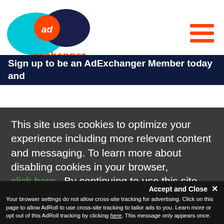[Figure (logo): AdExchanger logo with blue ellipse, dark navy ellipse, orange circle with 'ad' text, and orange 'exchanger' text]
Sign up to be an AdExchanger Member today and
This site uses cookies to optimize your experience including more relevant content and messaging. To learn more about disabling cookies in your browser, click here.  By continuing to use this site, you accept our use of cookies. For more information, view our updated
Privacy Policy.
I consent
Accept and Close ✕
Your browser settings do not allow cross-site tracking for advertising. Click on this page to allow AdRoll to use cross-site tracking to tailor ads to you. Learn more or opt out of this AdRoll tracking by clicking here. This message only appears once.